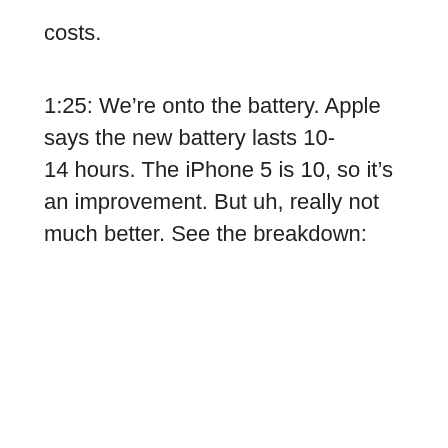costs.
1:25: We're onto the battery. Apple says the new battery lasts 10-14 hours. The iPhone 5 is 10, so it's an improvement. But uh, really not much better. See the breakdown: